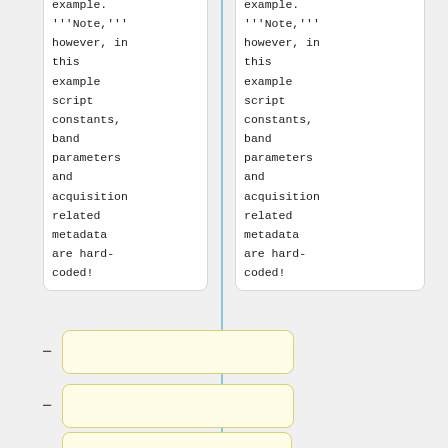[Figure (screenshot): Two side-by-side white rounded text boxes containing monospaced code/documentation text. Left box shows: "example. '''Note,''' however, in this example script constants, band parameters and acquisition related metadata are hard-coded!" Right box shows identical text. Below, a diff section with three yellow-highlighted boxes with minus signs: two empty boxes and one containing "''ToAdd''". At the bottom edge, two more white rounded boxes partially visible.]